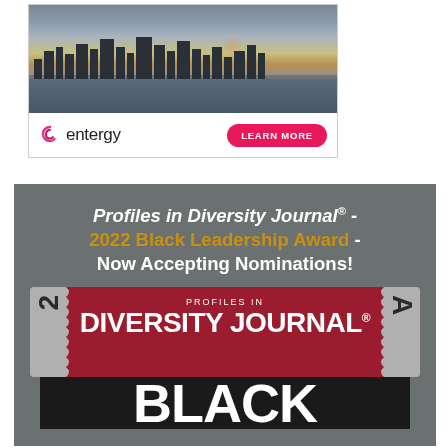[Figure (illustration): Entergy advertisement showing a city skyline at dusk reflected on water, with the Entergy logo (pink spiral 'e' icon and 'entergy' text) and a pink 'LEARN MORE' button.]
[Figure (illustration): Profiles in Diversity Journal 2022 Black Leadership Award advertisement on grey background with the magazine logo stamp design and 'BLACK' text partially visible at the bottom.]